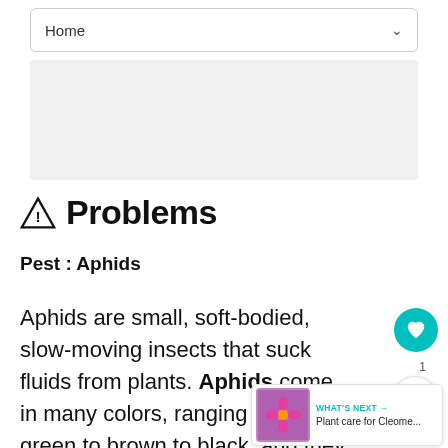[Figure (screenshot): Navigation bar showing 'Home' with a dropdown chevron]
[Figure (other): Gray advertisement/placeholder box]
⚠ Problems
Pest : Aphids
Aphids are small, soft-bodied, slow-moving insects that suck fluids from plants. Aphids come in many colors, ranging from green to brown to black, and they may have wings. They attack a wide range of plant species, causing stunting, deformed leaves and buds.